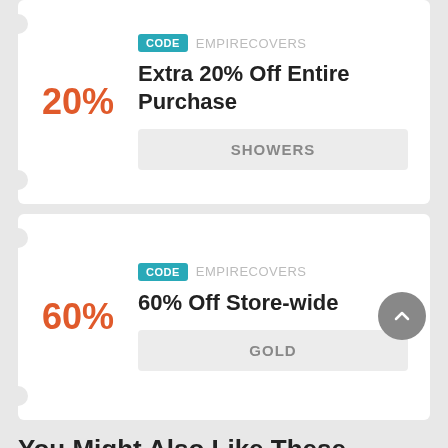[Figure (infographic): Coupon card 1: Extra 20% Off Entire Purchase with code SHOWERS, showing 20% in orange on left]
[Figure (infographic): Coupon card 2: 60% Off Store-wide with code GOLD, showing 60% in orange on left]
You Might Also Like These Coupons
[Figure (infographic): Partial coupon card at bottom of page]